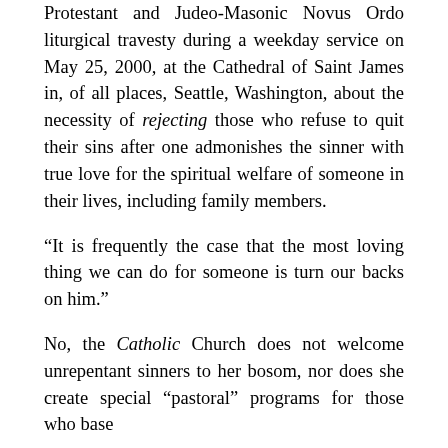Protestant and Judeo-Masonic Novus Ordo liturgical travesty during a weekday service on May 25, 2000, at the Cathedral of Saint James in, of all places, Seattle, Washington, about the necessity of rejecting those who refuse to quit their sins after one admonishes the sinner with true love for the spiritual welfare of someone in their lives, including family members.
“It is frequently the case that the most loving thing we can do for someone is turn our backs on him.”
No, the Catholic Church does not welcome unrepentant sinners to her bosom, nor does she create special “pastoral” programs for those who base